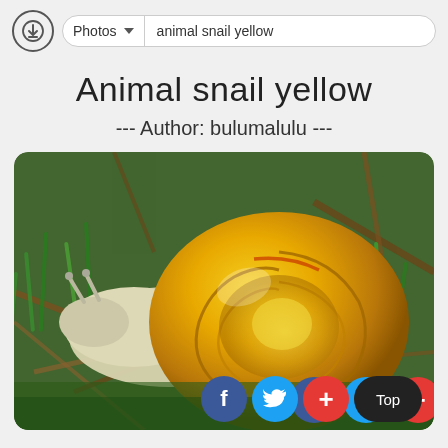Photos ▼  animal snail yellow
Animal snail yellow
--- Author: bulumalulu ---
[Figure (photo): Close-up photograph of a yellow snail with a bright yellow spiral shell, crawling through green grass and brown twigs. The snail's body is pale cream/white colored. Social sharing buttons (Facebook, Twitter, Plus) and a Top button are overlaid at the bottom right.]